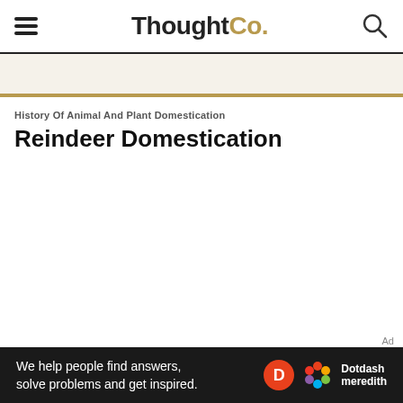ThoughtCo.
History Of Animal And Plant Domestication
Reindeer Domestication
Ad
We help people find answers, solve problems and get inspired. Dotdash meredith